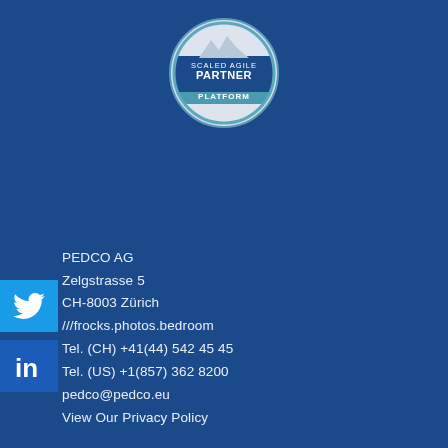[Figure (logo): Scaled Agile Partner Platform badge — circular logo with mountain graphic, text reads SCALED AGILE PARTNER PLATFORM]
[Figure (logo): Twitter/X social media icon — white bird on blue square]
[Figure (logo): LinkedIn social media icon — white 'in' on darker blue square]
PEDCO AG
Zelgstrasse 5
CH-8003 Zürich
///frocks.photos.bedroom
Tel. (CH) +41(44) 542 45 45
Tel. (US) +1(857) 362 8200
pedco@pedco.eu
View Our Privacy Policy